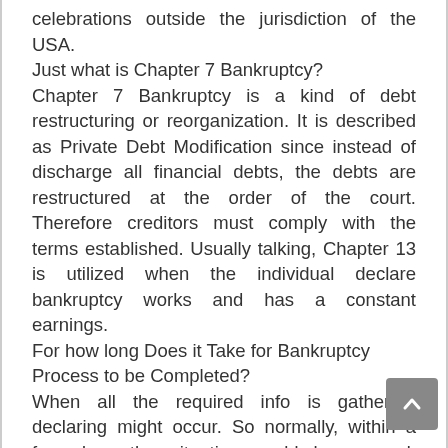celebrations outside the jurisdiction of the USA.
Just what is Chapter 7 Bankruptcy?
Chapter 7 Bankruptcy is a kind of debt restructuring or reorganization. It is described as Private Debt Modification since instead of discharge all financial debts, the debts are restructured at the order of the court. Therefore creditors must comply with the terms established. Usually talking, Chapter 13 is utilized when the individual declare bankruptcy works and has a constant earnings.
For how long Does it Take for Bankruptcy Process to be Completed?
When all the required info is gathered, declaring might occur. So normally, within a few days the situation could be opened. Naturally, if there is an emergency such as putting at risk foreclosure or repossession of a lorry, we could quicken this process. Concerning a month after you file, you will be needed to participate in a Lender Meeting. Lastly, if there are no unforeseen missteps, a